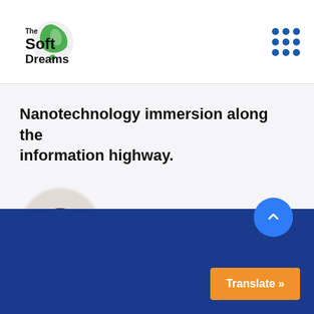[Figure (logo): The Soft Dreams logo — green leaf/droplet icon with 'The Soft Dreams' text]
Nanotechnology immersion along the information highway.
[Figure (photo): Circular avatar photo of Abdur Rashid, smiling man with glasses and curly hair]
Abdur Rashid
CEO, Keen IT Solution
Translate »